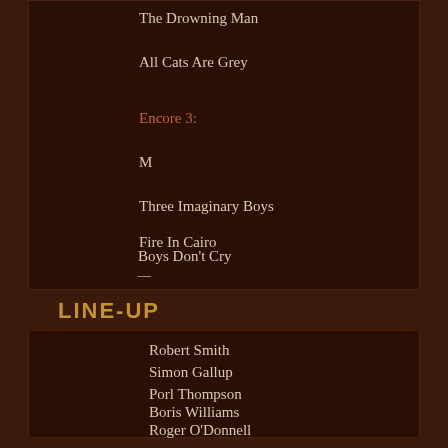The Drowning Man
All Cats Are Grey
Encore 3:
M
Three Imaginary Boys
Fire In Cairo
Boys Don't Cry
10.15 Saturday Night
Killing An Arab
LINE-UP
Robert Smith
Simon Gallup
Porl Thompson
Boris Williams
Roger O'Donnell